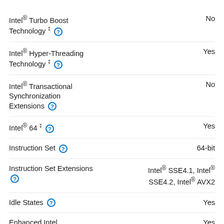Intel® Turbo Boost Technology ‡ — No
Intel® Hyper-Threading Technology ‡ — Yes
Intel® Transactional Synchronization Extensions — No
Intel® 64 ‡ — Yes
Instruction Set — 64-bit
Instruction Set Extensions — Intel® SSE4.1, Intel® SSE4.2, Intel® AVX2
Idle States — Yes
Enhanced Intel SpeedStep® Technology — Yes